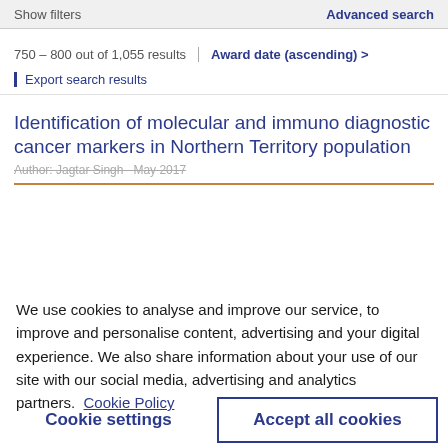Show filters | Advanced search
750 – 800 out of 1,055 results | Award date (ascending) >
Export search results
Identification of molecular and immuno diagnostic cancer markers in Northern Territory population
Author: Jagtar Singh   May 2017
We use cookies to analyse and improve our service, to improve and personalise content, advertising and your digital experience. We also share information about your use of our site with our social media, advertising and analytics partners.  Cookie Policy
Cookie settings
Accept all cookies